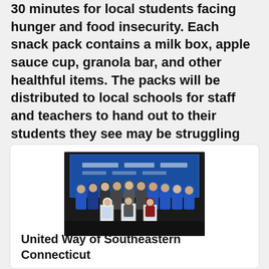30 minutes for local students facing hunger and food insecurity. Each snack pack contains a milk box, apple sauce cup, granola bar, and other healthful items. The packs will be distributed to local schools for staff and teachers to hand out to their students they see may be struggling
[Figure (photo): Group photo of volunteers and staff in blue United Way shirts and regular clothing, posing together holding framed certificates or awards, in front of a blue banner backdrop.]
United Way of Southeastern Connecticut